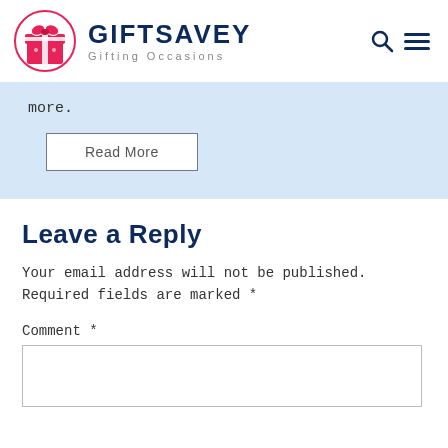[Figure (logo): GiftSavey logo: pink gift box icon in a pink circle, with GIFTSAVEY in dark navy bold text and 'Gifting Occasions' tagline below]
more.
Read More
Leave a Reply
Your email address will not be published. Required fields are marked *
Comment *